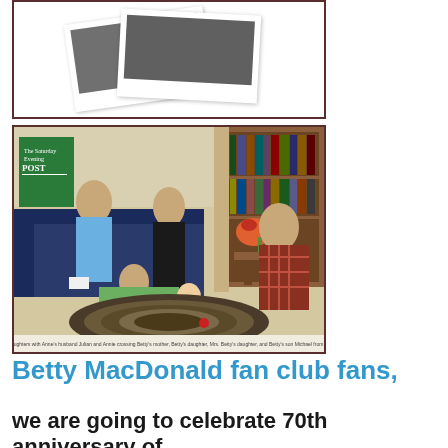[Figure (photo): Two overlapping polaroid-style photographs, one tilted left and one tilted right, showing grey/dark photo images]
[Figure (photo): Vintage photograph of a family scene in a living room - several people including an older woman on a couch, a woman in black, a person in plaid, a child lying on floor, and a baby on a braided rug. Saturday Evening Post magazine visible in background. Caption text at bottom.]
Betty MacDonald fan club fans,
we are going to celebrate 70th anniversary of